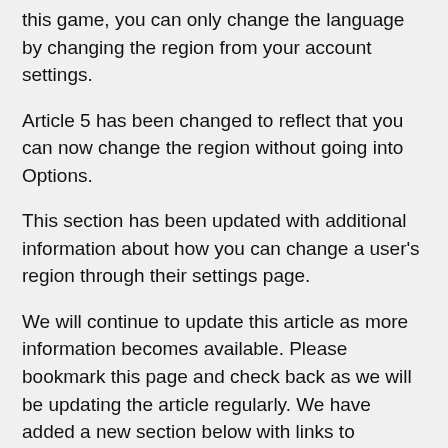this game, you can only change the language by changing the region from your account settings.
Article 5 has been changed to reflect that you can now change the region without going into Options.
This section has been updated with additional information about how you can change a user's region through their settings page.
We will continue to update this article as more information becomes available. Please bookmark this page and check back as we will be updating the article regularly. We have added a new section below with links to resources where you can find out more about this update and how it will affect your gameplay experience. Please also review this article for information on how to change your region.